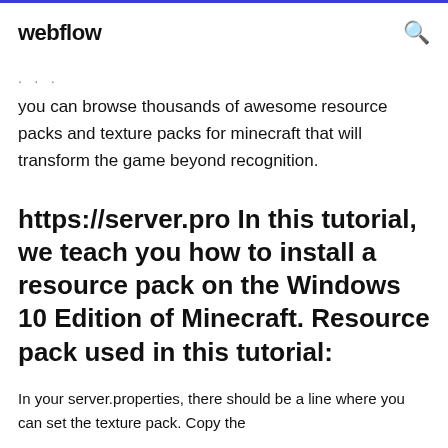webflow
you can browse thousands of awesome resource packs and texture packs for minecraft that will transform the game beyond recognition.
https://server.pro In this tutorial, we teach you how to install a resource pack on the Windows 10 Edition of Minecraft. Resource pack used in this tutorial:
In your server.properties, there should be a line where you can set the texture pack. Copy the